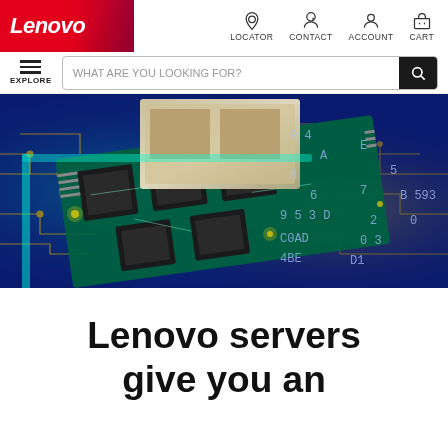[Figure (logo): Lenovo logo in red background with white italic bold text]
LOCATOR  CONTACT  ACCOUNT  CART
EXPLORE  WHAT ARE YOU LOOKING FOR?
[Figure (photo): Close-up of a glowing green circuit board / processor chip on a blue digital background with hexadecimal characters]
Lenovo servers give you an